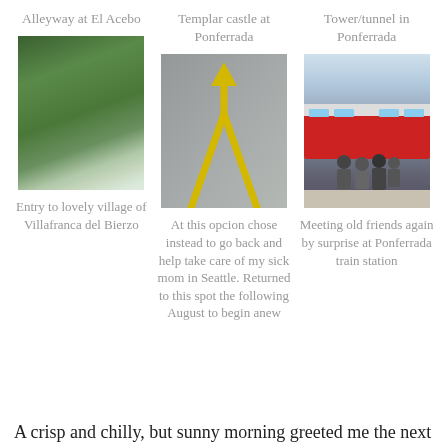Alleyway at El Acebo
Templar castle at Ponferrada
Tower/tunnel in Ponferrada
[Figure (photo): Aerial view of a village with green hills, trees, and buildings - entry to Villafranca del Bierzo]
[Figure (photo): Pavement with a yellow arrow painted on grey asphalt - Camino de Santiago waymark]
[Figure (photo): Group of people standing on a train station platform next to a red and white train at Ponferrada]
Entry to lovely village of Villafranca del Bierzo
At this opcion chose instead to go back and help take care of my sick mom in Seattle. Returned to this spot the following August to begin anew
Meeting old friends again by surprise at Ponferrada train station
A crisp and chilly, but sunny morning greeted me the next